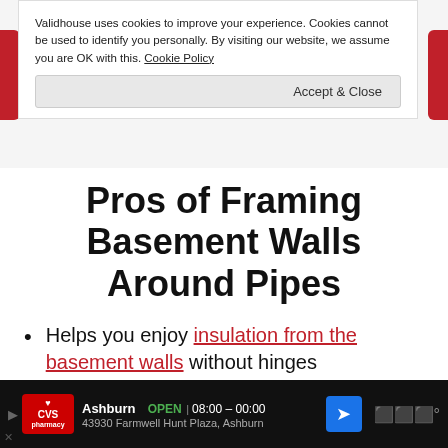Validhouse uses cookies to improve your experience. Cookies cannot be used to identify you personally. By visiting our website, we assume you are OK with this. Cookie Policy
Accept & Close
Pros of Framing Basement Walls Around Pipes
Helps you enjoy insulation from the basement walls without hinges
Helps to hold the pipes together
Ashburn OPEN 08:00 – 00:00 43930 Farmwell Hunt Plaza, Ashburn